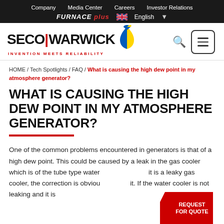Company  Media Center  Careers  Investor Relations  FURNACE plus  English
[Figure (logo): SECO|WARWICK logo with INVENTION MEETS RELIABILITY tagline and blue/yellow ribbon]
HOME / Tech Spotlights / FAQ / What is causing the high dew point in my atmosphere generator?
WHAT IS CAUSING THE HIGH DEW POINT IN MY ATMOSPHERE GENERATOR?
One of the common problems encountered in generators is that of a high dew point. This could be caused by a leak in the gas cooler which is of the tube type water cooled type. If it is a leaky gas cooler, the correction is obvious – replace it. If the water cooler is not leaking and it is